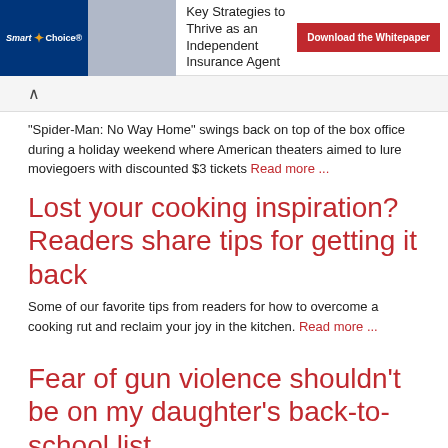[Figure (other): Smart Choice advertisement banner with logo, image, text 'Key Strategies to Thrive as an Independent Insurance Agent', and red download button]
Spider-Man: No Way Home" swings back on top of the box office during a holiday weekend where American theaters aimed to lure moviegoers with discounted $3 tickets Read more ...
Lost your cooking inspiration? Readers share tips for getting it back
Some of our favorite tips from readers for how to overcome a cooking rut and reclaim your joy in the kitchen. Read more ...
Fear of gun violence shouldn't be on my daughter's back-to-school list
As I prepare my daughter for her very first day of school, fear of the unspeakable looms in my mind. Read more ...
NJ mom shares worries about Biden's student loan handout plan at this time